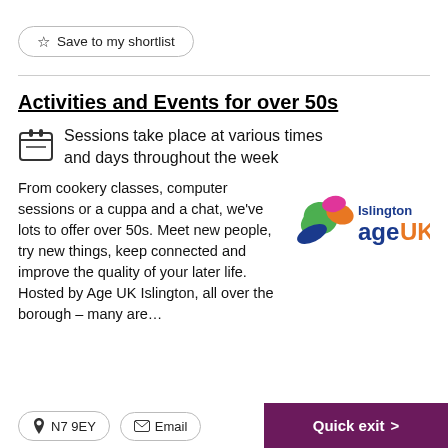Save to my shortlist
Activities and Events for over 50s
Sessions take place at various times and days throughout the week
From cookery classes, computer sessions or a cuppa and a chat, we've lots to offer over 50s. Meet new people, try new things, keep connected and improve the quality of your later life. Hosted by Age UK Islington, all over the borough – many are...
[Figure (logo): Islington Age UK logo with colourful swirl and text]
N7 9EY
Email
Quick exit >